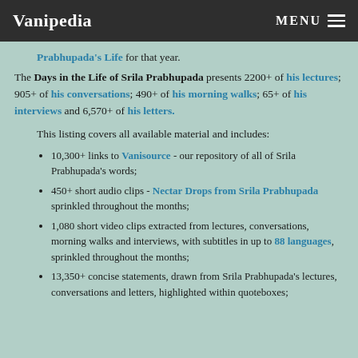Vanipedia  MENU
Prabhupada's Life for that year.
The Days in the Life of Srila Prabhupada presents 2200+ of his lectures; 905+ of his conversations; 490+ of his morning walks; 65+ of his interviews and 6,570+ of his letters.
This listing covers all available material and includes:
10,300+ links to Vanisource - our repository of all of Srila Prabhupada's words;
450+ short audio clips - Nectar Drops from Srila Prabhupada sprinkled throughout the months;
1,080 short video clips extracted from lectures, conversations, morning walks and interviews, with subtitles in up to 88 languages, sprinkled throughout the months;
13,350+ concise statements, drawn from Srila Prabhupada's lectures, conversations and letters, highlighted within quoteboxes;